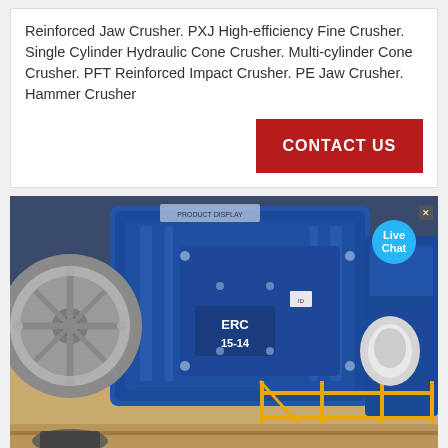Reinforced Jaw Crusher. PXJ High-efficiency Fine Crusher. Single Cylinder Hydraulic Cone Crusher. Multi-cylinder Cone Crusher. PFT Reinforced Impact Crusher. PE Jaw Crusher. Hammer Crusher
[Figure (other): Red CONTACT US button]
[Figure (photo): Industrial blue ERC 15-14 jaw crusher or similar heavy machinery with a large grey flywheel, yellow safety railing, and industrial background. Live Chat bubble overlay in top right.]